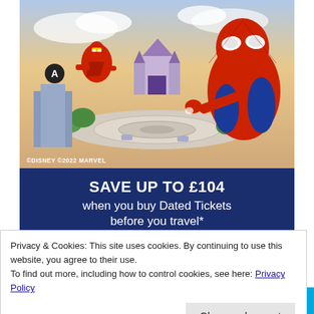[Figure (illustration): Disney/Marvel advertisement showing Iron Man and Spider-Man over a futuristic campus with a castle in the background. Copyright text reads ©DISNEY ©2022 MARVEL.]
SAVE UP TO £104 when you buy Dated Tickets before you travel*
Privacy & Cookies: This site uses cookies. By continuing to use this website, you agree to their use.
To find out more, including how to control cookies, see here: Privacy Policy
Close and accept
prime video